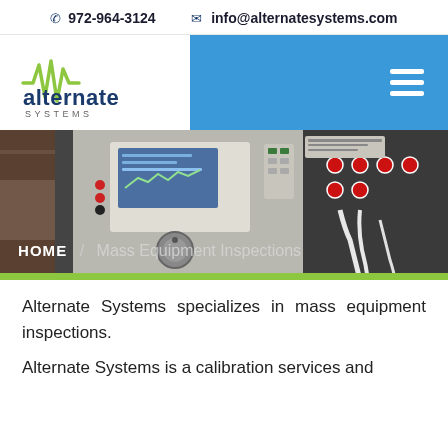☎ 972-964-3124   ✉ info@alternatesystems.com
[Figure (logo): Alternate Systems logo with sine wave graphic in green and blue text]
[Figure (photo): Hero banner photo of calibration/test equipment including a Fluke multifunction calibrator with LCD screen and control panel, electronic test instruments with wiring]
HOME / Mass Equipment Inspections
Alternate Systems specializes in mass equipment inspections.
Alternate Systems is a calibration services and